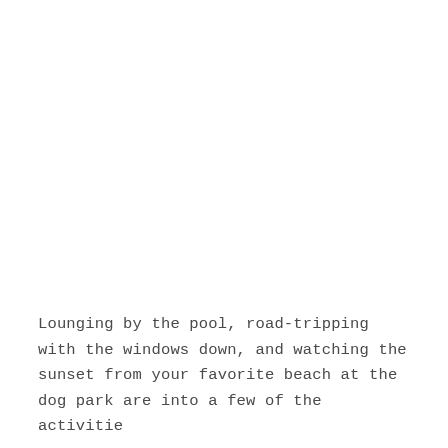Lounging by the pool, road-tripping with the windows down, and watching the sunset from your favorite beach at the dog park are into a few of the activities